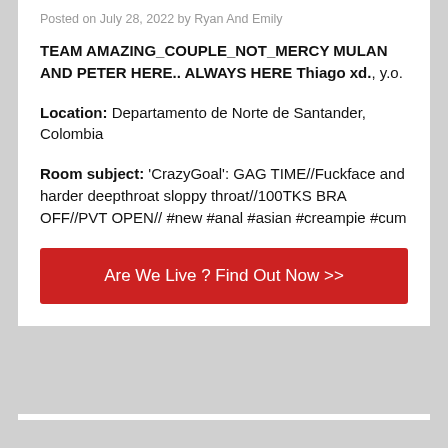Posted on July 28, 2022 by Ryan And Emily
TEAM AMAZING_COUPLE_NOT_MERCY MULAN AND PETER HERE.. ALWAYS HERE Thiago xd., y.o.
Location: Departamento de Norte de Santander, Colombia
Room subject: 'CrazyGoal': GAG TIME//Fuckface and harder deepthroat sloppy throat//100TKS BRA OFF//PVT OPEN// #new #anal #asian #creampie #cum
Are We Live ? Find Out Now >>